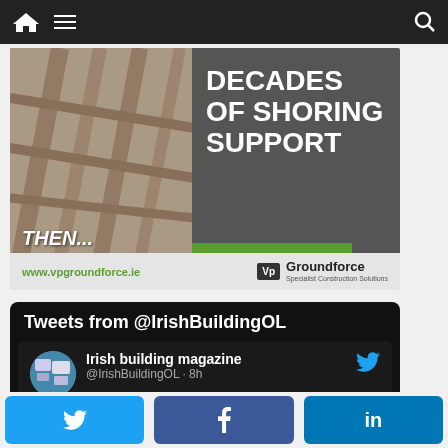Navigation bar with home, menu, and search icons
[Figure (illustration): Advertisement banner for VP Groundforce showing old construction shoring photo on left, dark grey background with 'DECADES OF SHORING SUPPORT' text on right, 'THEN...' text overlay, green bar accent, and footer with www.vpgroundforce.ie and Groundforce Specialist Construction Solutions logo]
Tweets from @IrishBuildingOL
Irish building magazine @IrishBuildingOL · 8h